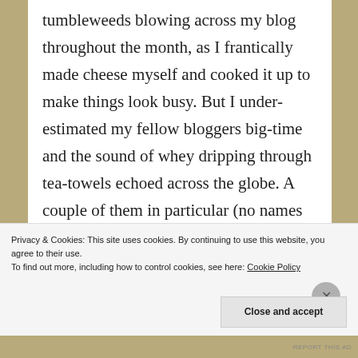tumbleweeds blowing across my blog throughout the month, as I frantically made cheese myself and cooked it up to make things look busy. But I under-estimated my fellow bloggers big-time and the sound of whey dripping through tea-towels echoed across the globe. A couple of them in particular (no names mentioned… ;)) seem to have become quite hooked on the entire process and I look forward to some magnificent creations clogging up their fridges and cellars very soon. But onto the round-up…
Continue reading…
Privacy & Cookies: This site uses cookies. By continuing to use this website, you agree to their use.
To find out more, including how to control cookies, see here: Cookie Policy
Close and accept